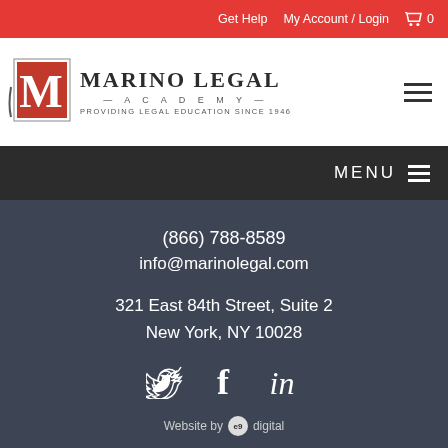Get Help   My Account / Login   🛒 0
[Figure (logo): Marino Legal Academy logo with M emblem and tagline 'Providing Legal Education Since 1946']
MENU
(866) 788-8589
info@marinolegal.com
321 East 84th Street, Suite 2
New York, NY 10028
[Figure (infographic): Social media icons: Twitter bird, Facebook f, LinkedIn in]
Website by e9 digital